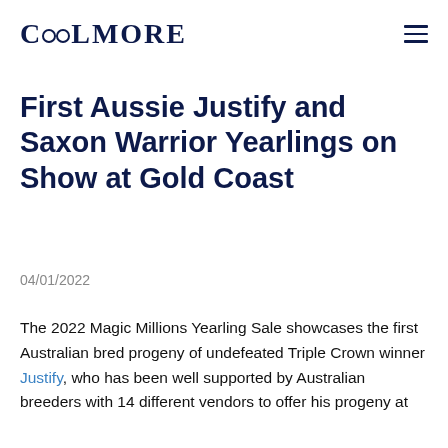COOLMORE
First Aussie Justify and Saxon Warrior Yearlings on Show at Gold Coast
04/01/2022
The 2022 Magic Millions Yearling Sale showcases the first Australian bred progeny of undefeated Triple Crown winner Justify, who has been well supported by Australian breeders with 14 different vendors to offer his progeny at